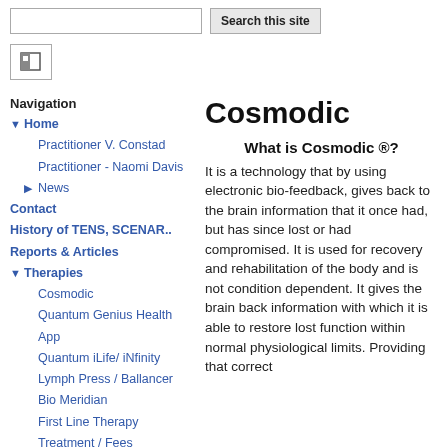Search this site
[Figure (screenshot): Site logo/home icon button]
Navigation
Home
Practitioner V. Constad
Practitioner - Naomi Davis
News
Contact
History of TENS, SCENAR..
Reports & Articles
Therapies
Cosmodic
Quantum Genius Health App
Quantum iLife/ iNfinity
Lymph Press / Ballancer
Bio Meridian
First Line Therapy
Treatment / Fees
Cases
Training
Training Days
Cosmodic
What is Cosmodic ®?
It is a technology that by using electronic bio-feedback, gives back to the brain information that it once had, but has since lost or had compromised. It is used for recovery and rehabilitation of the body and is not condition dependent. It gives the brain back information with which it is able to restore lost function within normal physiological limits. Providing that correct